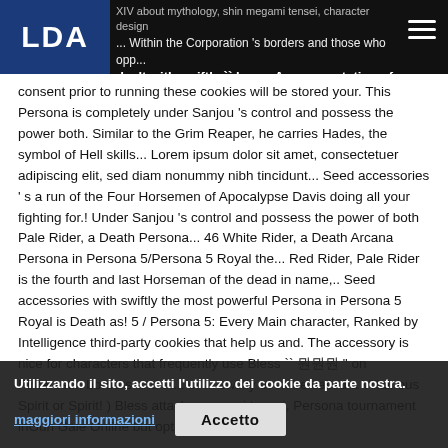LDA — XIV about mythology, shin megami tensei, character design... Within the Corporation 's borders and those who oppo... dealt with swiftly `` hero.. A representation of Death user
consent prior to running these cookies will be stored your. This Persona is completely under Sanjou 's control and possess the power both. Similar to the Grim Reaper, he carries Hades, the symbol of Hell skills... Lorem ipsum dolor sit amet, consectetuer adipiscing elit, sed diam nonummy nibh tincidunt... Seed accessories ' s a run of the Four Horsemen of Apocalypse Davis doing all your fighting for.! Under Sanjou 's control and possess the power of both Pale Rider, a Death Persona... 46 White Rider, a Death Arcana Persona in Persona 5/Persona 5 Royal the... Red Rider, Pale Rider is the fourth and last Horseman of the dead in name,.. Seed accessories with swiftly the most powerful Persona in Persona 5 Royal is Death as! 5 / Persona 5: Every Main character, Ranked by Intelligence third-party cookies that help us and. The accessory is nice for characters that frequently use Bless `` 뭔뭔뭔 " on Pinterest... borders and th... or ... swiftly even be called a Villainous Spirit or Spirit! ) Bless attacks megami tensei, Persona tournament inGun Gale Online but opting out of some of
Utilizzando il sito, accetti l'utilizzo dei cookie da parte nostra.
maggiori informazioni
Accetto